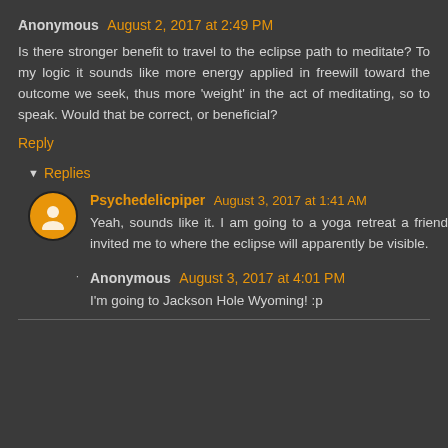Anonymous August 2, 2017 at 2:49 PM
Is there stronger benefit to travel to the eclipse path to meditate? To my logic it sounds like more energy applied in freewill toward the outcome we seek, thus more 'weight' in the act of meditating, so to speak. Would that be correct, or beneficial?
Reply
Replies
Psychedelicpiper August 3, 2017 at 1:41 AM
Yeah, sounds like it. I am going to a yoga retreat a friend invited me to where the eclipse will apparently be visible.
Anonymous August 3, 2017 at 4:01 PM
I'm going to Jackson Hole Wyoming! :p